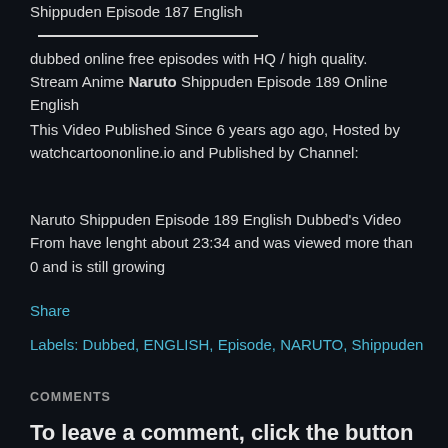Shippuden Episode 187 English dubbed online free episodes with HQ / high quality. Stream Anime Naruto Shippuden Episode 189 Online English
This Video Published Since 6 years ago ago, Hosted by watchcartoononline.io and Published by Channel:
Naruto Shippuden Episode 189 English Dubbed's Video From have lenght about 23:34 and was viewed more than 0 and is still growing
Share
Labels: Dubbed, ENGLISH, Episode, NARUTO, Shippuden
COMMENTS
To leave a comment, click the button below